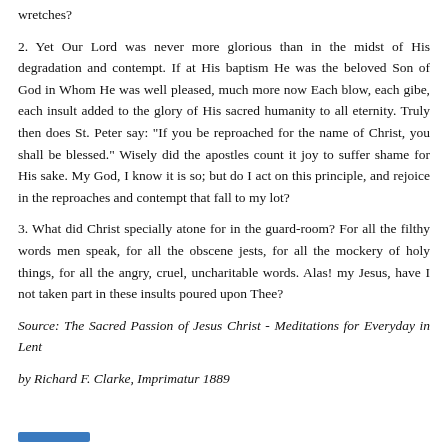wretches?
2. Yet Our Lord was never more glorious than in the midst of His degradation and contempt. If at His baptism He was the beloved Son of God in Whom He was well pleased, much more now Each blow, each gibe, each insult added to the glory of His sacred humanity to all eternity. Truly then does St. Peter say: "If you be reproached for the name of Christ, you shall be blessed." Wisely did the apostles count it joy to suffer shame for His sake. My God, I know it is so; but do I act on this principle, and rejoice in the reproaches and contempt that fall to my lot?
3. What did Christ specially atone for in the guard-room? For all the filthy words men speak, for all the obscene jests, for all the mockery of holy things, for all the angry, cruel, uncharitable words. Alas! my Jesus, have I not taken part in these insults poured upon Thee?
Source: The Sacred Passion of Jesus Christ - Meditations for Everyday in Lent
by Richard F. Clarke, Imprimatur 1889